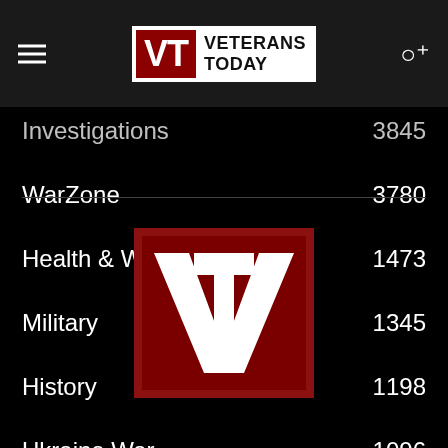Veterans Today
Investigations 3845
WarZone 3780
Health & Wellness 1473
Military 1345
History 1198
Ukraine War 1096
[Figure (logo): Veterans Today VT logo square — dark red background with white VT letters]